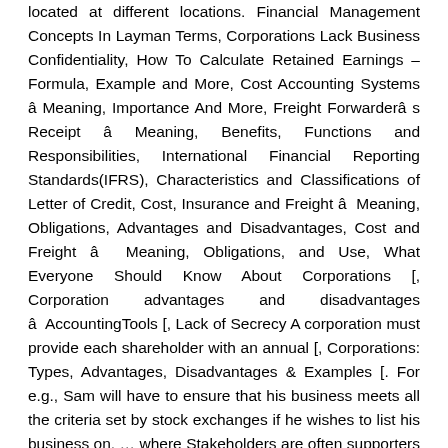located at different locations. Financial Management Concepts In Layman Terms, Corporations Lack Business Confidentiality, How To Calculate Retained Earnings – Formula, Example and More, Cost Accounting Systems â Meaning, Importance And More, Freight Forwarderâ s Receipt â Meaning, Benefits, Functions and Responsibilities, International Financial Reporting Standards(IFRS), Characteristics and Classifications of Letter of Credit, Cost, Insurance and Freight â Meaning, Obligations, Advantages and Disadvantages, Cost and Freight â Meaning, Obligations, and Use, What Everyone Should Know About Corporations [, Corporation advantages and disadvantages â AccountingTools [, Lack of Secrecy A corporation must provide each shareholder with an annual [, Corporations: Types, Advantages, Disadvantages & Examples [. For e.g., Sam will have to ensure that his business meets all the criteria set by stock exchanges if he wishes to list his business on. … where Stakeholders are often supporters of the Evidence